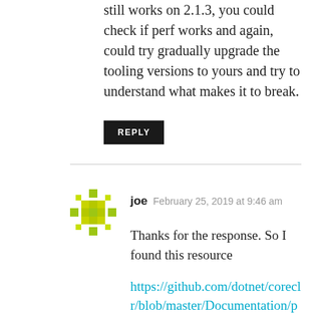still works on 2.1.3, you could check if perf works and again, could try gradually upgrade the tooling versions to yours and try to understand what makes it to break.
REPLY
joe  February 25, 2019 at 9:46 am
Thanks for the response. So I found this resource
https://github.com/dotnet/coreclr/blob/master/Documentation/project-docs/linux-performance